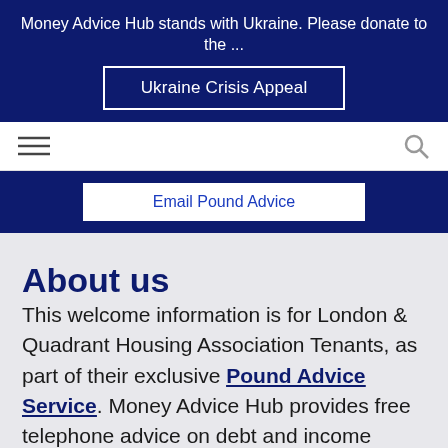Money Advice Hub stands with Ukraine. Please donate to the ...
Ukraine Crisis Appeal
[Figure (screenshot): Navigation bar with hamburger menu icon on left and search icon on right]
Email Pound Advice
About us
This welcome information is for London & Quadrant Housing Association Tenants, as part of their exclusive Pound Advice Service. Money Advice Hub provides free telephone advice on debt and income